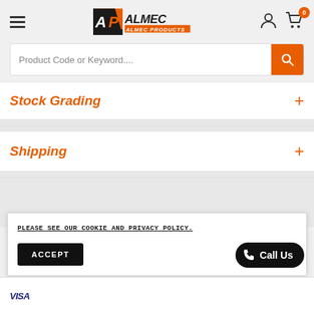[Figure (logo): Almec Products logo with orange 'AP' icon and black/orange text]
Product Code or Keyword....
Stock Grading
Shipping
PLEASE SEE OUR COOKIE AND PRIVACY POLICY.
ACCEPT
Call Us